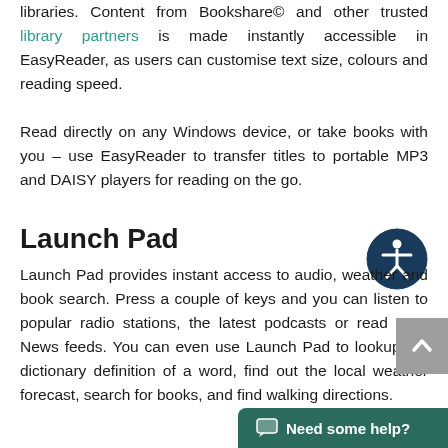libraries. Content from Bookshare© and other trusted library partners is made instantly accessible in EasyReader, as users can customise text size, colours and reading speed.
Read directly on any Windows device, or take books with you – use EasyReader to transfer titles to portable MP3 and DAISY players for reading on the go.
Launch Pad
[Figure (illustration): Accessibility icon: dark navy circle with a white stylized person figure (accessibility symbol) in the center]
Launch Pad provides instant access to audio, weather and book search. Press a couple of keys and you can listen to popular radio stations, the latest podcasts or read RSS News feeds. You can even use Launch Pad to lookup the dictionary definition of a word, find out the local weather forecast, search for books, and find walking directions.
[Figure (illustration): Grey scroll-to-top button with white upward chevron arrow]
[Figure (illustration): Dark teal chat bubble button with text 'Need some help?']